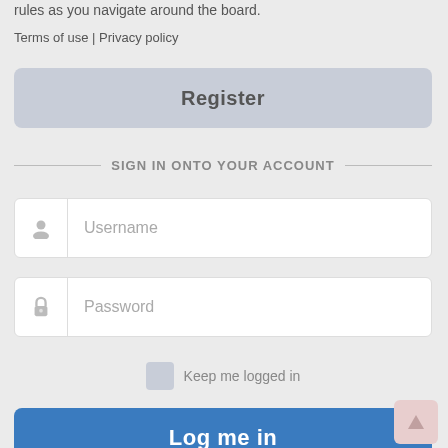rules as you navigate around the board.
Terms of use | Privacy policy
Register
SIGN IN ONTO YOUR ACCOUNT
[Figure (screenshot): Username input field with user icon]
[Figure (screenshot): Password input field with lock icon]
Keep me logged in
Log me in